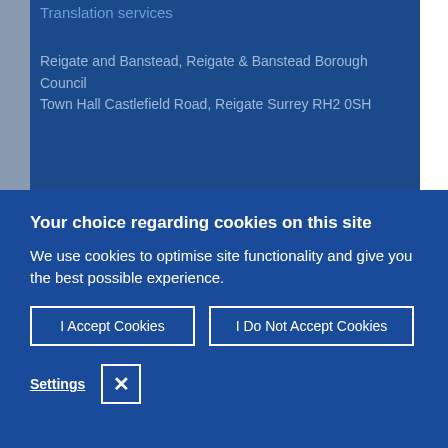Translation services
Reigate and Banstead, Reigate & Banstead Borough Council Town Hall Castlefield Road, Reigate Surrey RH2 0SH
Your choice regarding cookies on this site
We use cookies to optimise site functionality and give you the best possible experience.
I Accept Cookies
I Do Not Accept Cookies
Settings